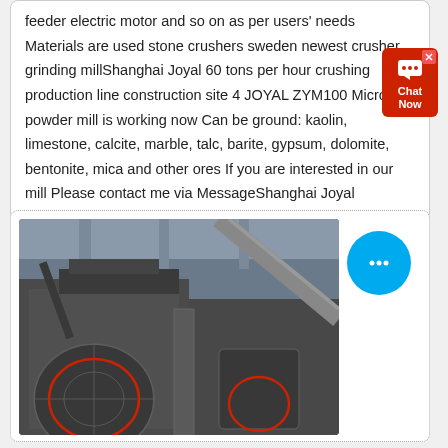feeder electric motor and so on as per users' needs Materials are used stone crushers sweden newest crusher grinding millShanghai Joyal 60 tons per hour crushing production line construction site 4 JOYAL ZYM100 Micro powder mill is working now Can be ground: kaolin, limestone, calcite, marble, talc, barite, gypsum, dolomite, bentonite, mica and other ores If you are interested in our mill Please contact me via MessageShanghai Joyal Machinery Co, Ltd Home Facebook
[Figure (photo): Industrial crushing machine (impact crusher or hammer mill) on a factory floor. Large grey metal equipment with mesh guards, conveyor belt visible in background, industrial warehouse setting.]